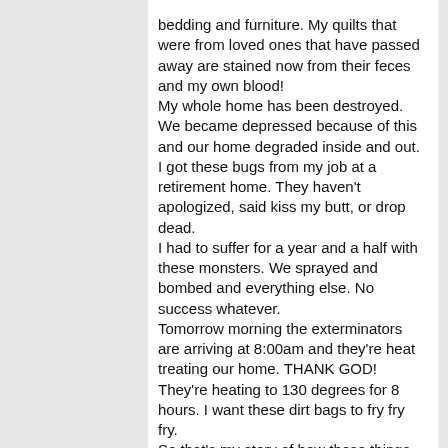bedding and furniture. My quilts that were from loved ones that have passed away are stained now from their feces and my own blood! My whole home has been destroyed. We became depressed because of this and our home degraded inside and out. I got these bugs from my job at a retirement home. They haven't apologized, said kiss my butt, or drop dead. I had to suffer for a year and a half with these monsters. We sprayed and bombed and everything else. No success whatever. Tomorrow morning the exterminators are arriving at 8:00am and they're heat treating our home. THANK GOD! They're heating to 130 degrees for 8 hours. I want these dirt bags to fry fry fry. So that's my story of how these things have destroyed my home. It's costing me $1520.00 for the heat treatment, then